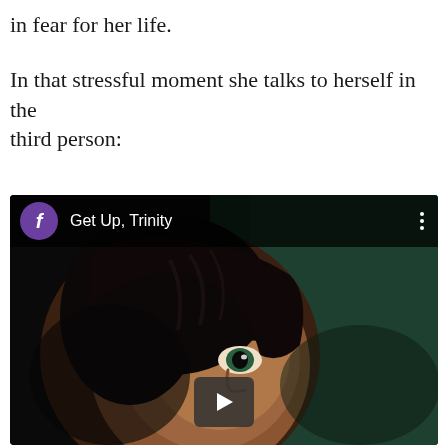in fear for her life.
In that stressful moment she talks to herself in the third person:
[Figure (screenshot): A video embed showing a close-up of a woman's face with dark hair partially obscuring her face, looking directly at the camera, with a dark/teal background. The video header shows a purple avatar icon with the letter 'f', the title 'Get Up, Trinity', and a three-dot menu icon. A play button is visible at the bottom center of the video.]